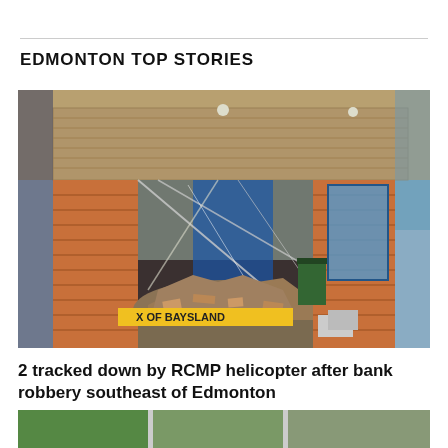EDMONTON TOP STORIES
[Figure (photo): Damaged building exterior showing a collapsed storefront with rubble and debris piled in front. Brick pillars frame the opening where a wall and windows have been demolished. A yellow barrier pole is visible in the foreground with text reading 'X OF BAYSLAND'. A blue window frame is visible to the right.]
2 tracked down by RCMP helicopter after bank robbery southeast of Edmonton
[Figure (photo): Partial view of another photo at the bottom of the page, cropped off.]